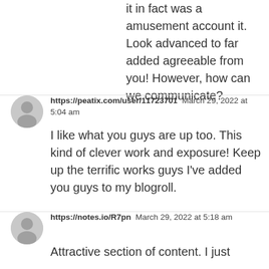it in fact was a amusement account it. Look advanced to far added agreeable from you! However, how can we communicate?
https://peatix.com/user/11723701  March 29, 2022 at 5:04 am
I like what you guys are up too. This kind of clever work and exposure! Keep up the terrific works guys I've added you guys to my blogroll.
https://notes.io/R7pn  March 29, 2022 at 5:18 am
Attractive section of content. I just